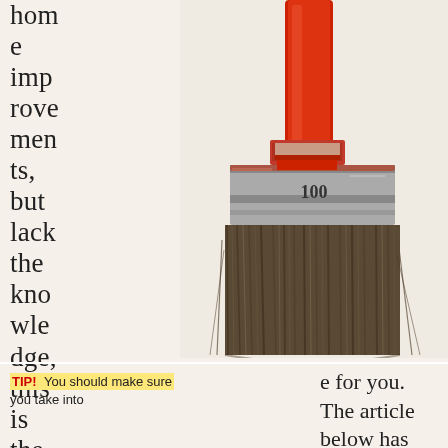home improvements, but lack the knowledge, this is the plac
[Figure (photo): A close-up photograph of a large, well-used paint brush with a red handle and a metal ferrule marked '100', with thick bristles fanned out at the bottom, set against a cream/beige background.]
TIP! You should make sure you take into e for you. The article below has some great home improvement